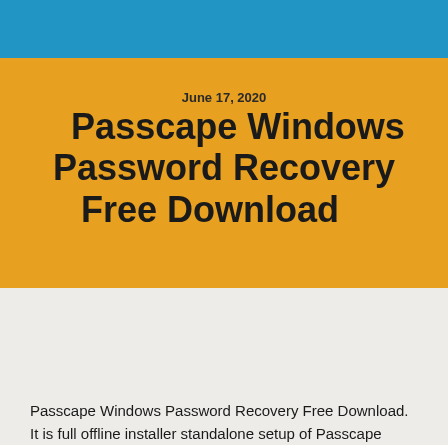June 17, 2020
Passcape Windows Password Recovery Free Download
Passcape Windows Password Recovery Free Download. It is full offline installer standalone setup of Passcape